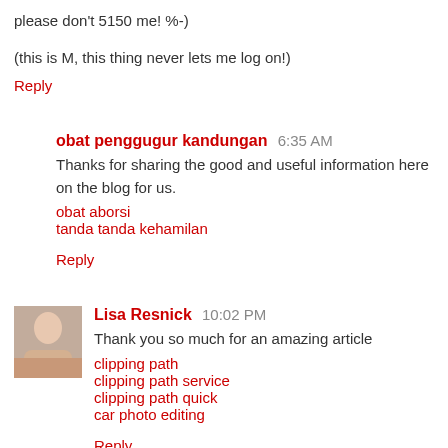please don't 5150 me! %-)
(this is M, this thing never lets me log on!)
Reply
obat penggugur kandungan  6:35 AM
Thanks for sharing the good and useful information here on the blog for us.
obat aborsi
tanda tanda kehamilan
Reply
Lisa Resnick  10:02 PM
Thank you so much for an amazing article
clipping path
clipping path service
clipping path quick
car photo editing
Reply